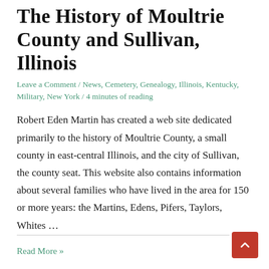The History of Moultrie County and Sullivan, Illinois
Leave a Comment / News, Cemetery, Genealogy, Illinois, Kentucky, Military, New York / 4 minutes of reading
Robert Eden Martin has created a web site dedicated primarily to the history of Moultrie County, a small county in east-central Illinois, and the city of Sullivan, the county seat. This website also contains information about several families who have lived in the area for 150 or more years: the Martins, Edens, Pifers, Taylors, Whites …
Read More »